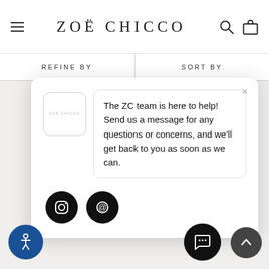ZOË CHICCO
REFINE BY
SORT BY
The ZC team is here to help! Send us a message for any questions or concerns, and we'll get back to you as soon as we can.
[Figure (screenshot): Chat popup widget with ZOE CHICCO logo, message bubble, Instagram and email icons, accessibility button, chat button, and scroll-to-top button on a Zoë Chicco e-commerce page.]